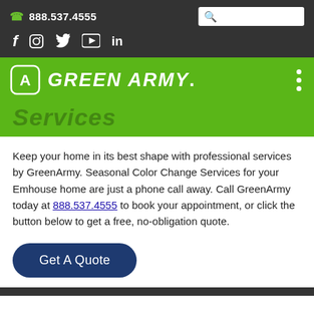888.537.4555
[Figure (screenshot): Green Army website header with logo, navigation, and partial 'Services' heading visible. Includes top dark bar with phone number and social media icons, green navigation bar with Green Army logo.]
Keep your home in its best shape with professional services by GreenArmy. Seasonal Color Change Services for your Emhouse home are just a phone call away. Call GreenArmy today at 888.537.4555 to book your appointment, or click the button below to get a free, no-obligation quote.
Get A Quote